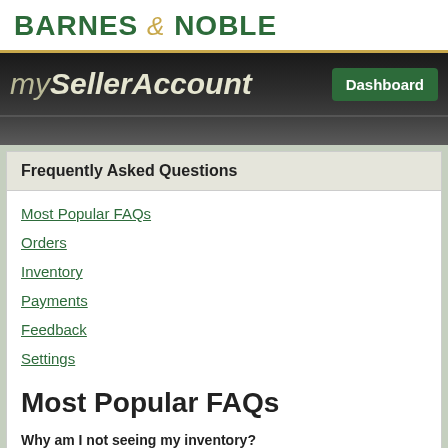BARNES & NOBLE
mySellerAccount  Dashboard
Frequently Asked Questions
Most Popular FAQs
Orders
Inventory
Payments
Feedback
Settings
Most Popular FAQs
Why am I not seeing my inventory?